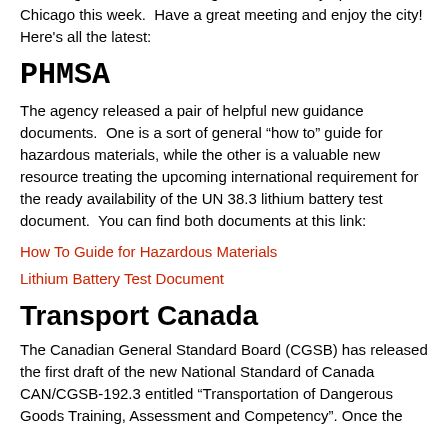attending Labelmaster's Dangerous Goods Symposium in Chicago this week. Have a great meeting and enjoy the city! Here's all the latest:
PHMSA
The agency released a pair of helpful new guidance documents. One is a sort of general “how to” guide for hazardous materials, while the other is a valuable new resource treating the upcoming international requirement for the ready availability of the UN 38.3 lithium battery test document. You can find both documents at this link:
How To Guide for Hazardous Materials
Lithium Battery Test Document
Transport Canada
The Canadian General Standard Board (CGSB) has released the first draft of the new National Standard of Canada CAN/CGSB-192.3 entitled “Transportation of Dangerous Goods Training, Assessment and Competency”. Once the